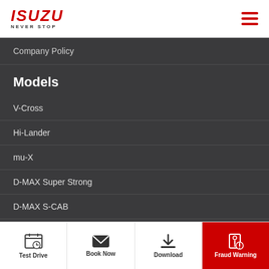ISUZU NEVER STOP
Company Policy
Models
V-Cross
Hi-Lander
mu-X
D-MAX Super Strong
D-MAX S-CAB
Test Drive | Book Now | Download | Fraud Warning